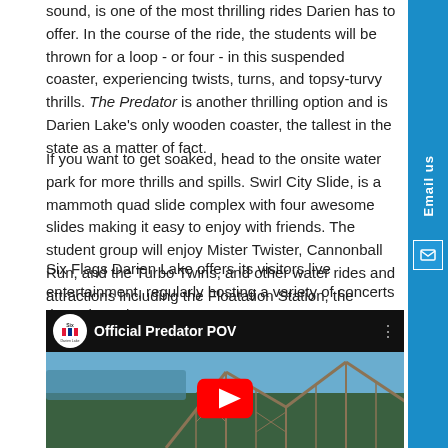sound, is one of the most thrilling rides Darien has to offer. In the course of the ride, the students will be thrown for a loop - or four - in this suspended coaster, experiencing twists, turns, and topsy-turvy thrills. The Predator is another thrilling option and is Darien Lake's only wooden coaster, the tallest in the state as a matter of fact.
If you want to get soaked, head to the onsite water park for more thrills and spills. Swirl City Slide, is a mammoth quad slide complex with four awesome slides making it easy to enjoy with friends. The student group will enjoy Mister Twister, Cannonball Run, and the Turbo Twins, and other water rides and attractions including the Floatation Station, the Tornado, and Crocodile Isle.
Six Flags Darien Lake offers its visitors live entertainment, regularly hosting a variety of concerts throughout the year.
[Figure (screenshot): YouTube video embed showing 'Official Predator POV' with Six Flags Darien Lake logo, video title bar, and thumbnail of wooden roller coaster with play button overlay.]